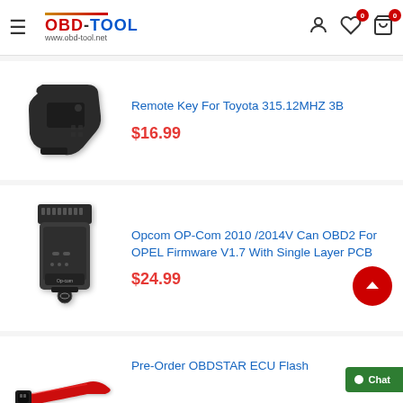Special Offer
[Figure (logo): OBD-TOOL logo with hamburger menu, www.obd-tool.net, cart and wishlist icons]
[Figure (photo): Black Toyota remote key fob - 315.12MHZ 3B]
Remote Key For Toyota 315.12MHZ 3B
$16.99
[Figure (photo): Black Opcom OP-Com OBD2 diagnostic tool for OPEL]
Opcom OP-Com 2010 /2014V Can OBD2 For OPEL Firmware V1.7 With Single Layer PCB
$24.99
[Figure (photo): Red and black cable connector - Pre-Order OBDSTAR ECU Flash]
Pre-Order OBDSTAR ECU Flash